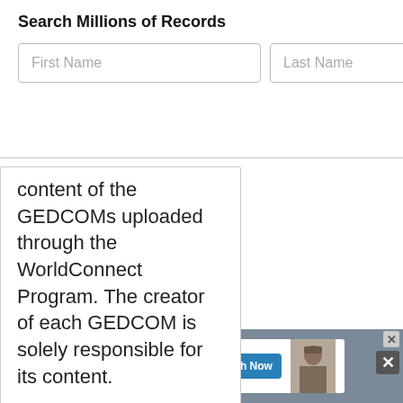Search Millions of Records
[Figure (screenshot): Search form with First Name and Last Name input fields]
content of the GEDCOMs uploaded through the WorldConnect Program. The creator of each GEDCOM is solely responsible for its content.
[Figure (screenshot): fold3 by Ancestry military records advertisement banner with Search Now button and soldier photo]